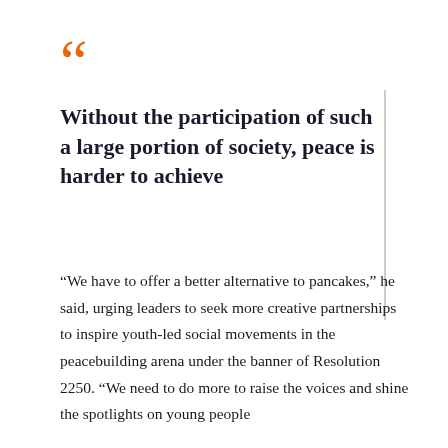Without the participation of such a large portion of society, peace is harder to achieve
“We have to offer a better alternative to pancakes,” he said, urging leaders to seek more creative partnerships to inspire youth-led social movements in the peacebuilding arena under the banner of Resolution 2250. “We need to do more to raise the voices and shine the spotlights on young people